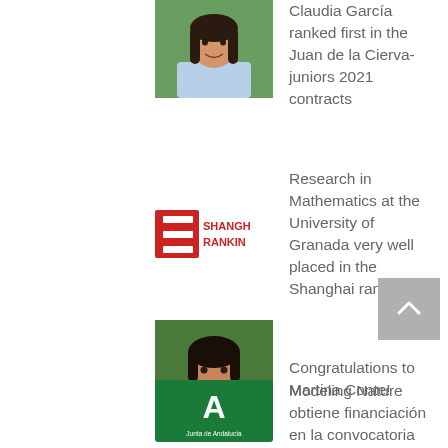[Figure (photo): Photo of a woman (Claudia Garcia) smiling, dark hair, in front of green background]
Claudia García ranked first in the Juan de la Cierva-juniors 2021 contracts
[Figure (logo): Shanghai Ranking logo - red square icon with letters and text SHANGH RANKIN]
Research in Mathematics at the University of Granada very well placed in the Shanghai ranking
[Figure (photo): Photo of Martina Conte smiling, dark hair, wearing red top]
Congratulations to Martina Conte!
[Figure (logo): Junta de Andalucía logo - green background with white A letter]
Modeling Nature obtiene financiación en la convocatoria Qualifica de la Junta de Andalucía